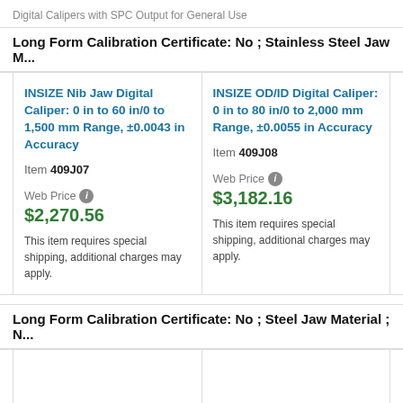Digital Calipers with SPC Output for General Use
Long Form Calibration Certificate: No ; Stainless Steel Jaw M...
INSIZE Nib Jaw Digital Caliper: 0 in to 60 in/0 to 1,500 mm Range, ±0.0043 in Accuracy
Item 409J07
Web Price $2,270.56
This item requires special shipping, additional charges may apply.
INSIZE OD/ID Digital Caliper: 0 in to 80 in/0 to 2,000 mm Range, ±0.0055 in Accuracy
Item 409J08
Web Price $3,182.16
This item requires special shipping, additional charges may apply.
Long Form Calibration Certificate: No ; Steel Jaw Material ; N...